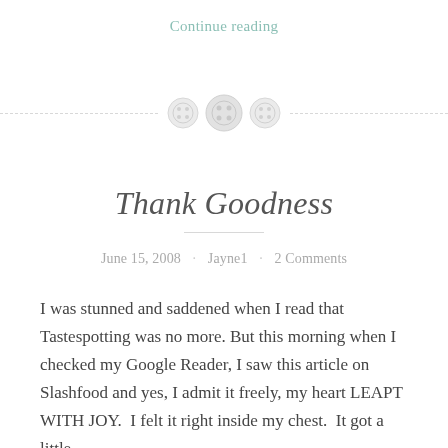Continue reading
[Figure (illustration): Decorative divider with three button icons and dashed horizontal lines on either side]
Thank Goodness
June 15, 2008 · Jayne1 · 2 Comments
I was stunned and saddened when I read that Tastespotting was no more. But this morning when I checked my Google Reader, I saw this article on Slashfood and yes, I admit it freely, my heart LEAPT WITH JOY.  I felt it right inside my chest.  It got a little